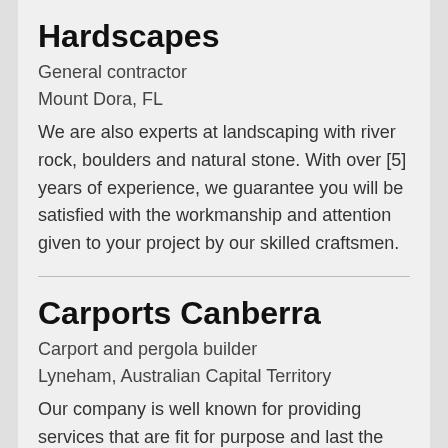Hardscapes
General contractor
Mount Dora, FL
We are also experts at landscaping with river rock, boulders and natural stone. With over [5] years of experience, we guarantee you will be satisfied with the workmanship and attention given to your project by our skilled craftsmen.
Carports Canberra
Carport and pergola builder
Lyneham, Australian Capital Territory
Our company is well known for providing services that are fit for purpose and last the